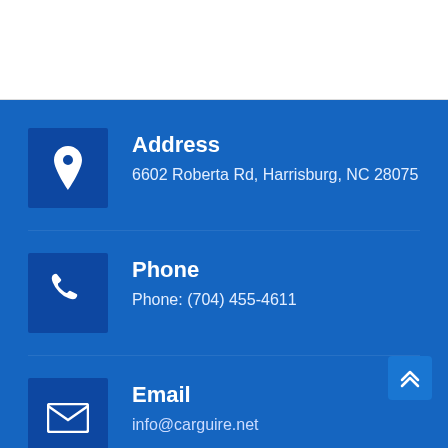Address
6602 Roberta Rd, Harrisburg, NC 28075
Phone
Phone: (704) 455-4611
Email
info@carguire.net